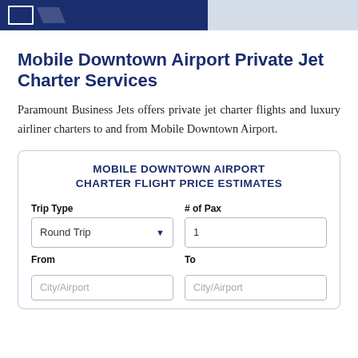Mobile Downtown Airport Private Jet Charter Services
Paramount Business Jets offers private jet charter flights and luxury airliner charters to and from Mobile Downtown Airport.
MOBILE DOWNTOWN AIRPORT CHARTER FLIGHT PRICE ESTIMATES
Trip Type
# of Pax
Round Trip
1
From
To
City/Airport
City/Airport